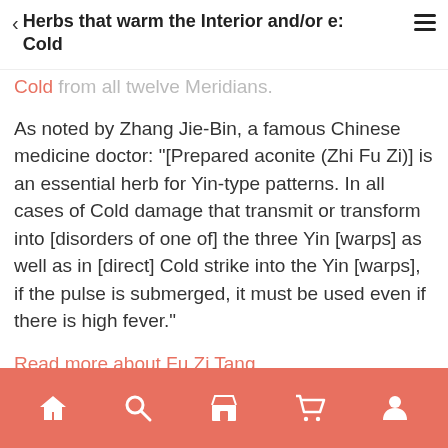Herbs that warm the Interior and/or expel Cold
Cold ability to invigorate the Yang and disperse Cold from all twelve Meridians.
As noted by Zhang Jie-Bin, a famous Chinese medicine doctor: "[Prepared aconite (Zhi Fu Zi)] is an essential herb for Yin-type patterns. In all cases of Cold damage that transmit or transform into [disorders of one of] the three Yin [warps] as well as in [direct] Cold strike into the Yin [warps], if the pulse is submerged, it must be used even if there is high fever."
Read more about Fu Zi Tang
Show 7 more formulas
Home | Search | Store | Cart | Profile